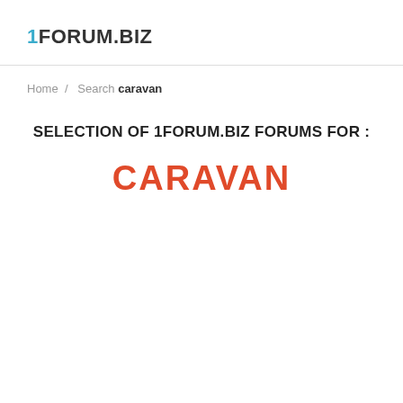1FORUM.BIZ
Home / Search caravan
SELECTION OF 1FORUM.BIZ FORUMS FOR :
CARAVAN